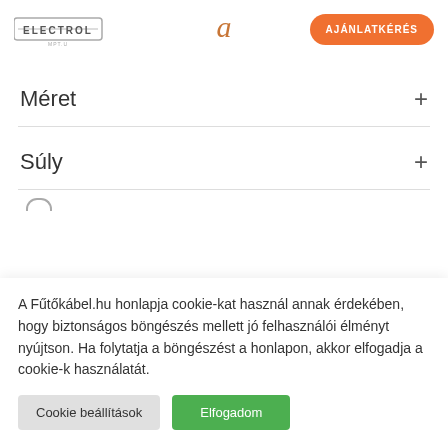[Figure (logo): Electrol logo with bordered text and line through middle, plus small subtitle text]
a
AJÁNLATKÉRÉS
Méret
Súly
A Fűtőkábel.hu honlapja cookie-kat használ annak érdekében, hogy biztonságos böngészés mellett jó felhasználói élményt nyújtson. Ha folytatja a böngészést a honlapon, akkor elfogadja a cookie-k használatát.
Cookie beállítások
Elfogadom